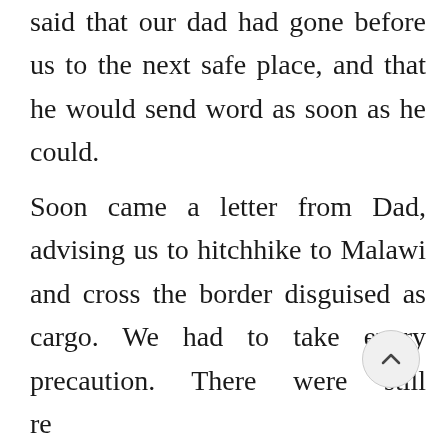said that our dad had gone before us to the next safe place, and that he would send word as soon as he could.
Soon came a letter from Dad, advising us to hitchhike to Malawi and cross the border disguised as cargo. We had to take every precaution. There were still rebels who would murder anyone of royal lineage. He said that he was headed to South Africa, but again, he would send word when it was safe for us to come to him. And so, we did as Dad